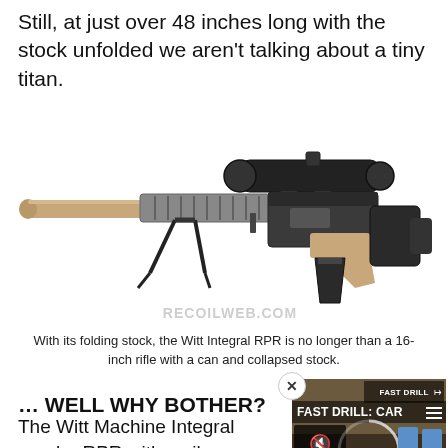Still, at just over 48 inches long with the stock unfolded we aren't talking about a tiny titan.
[Figure (photo): A precision rifle with tan/coyote barrel and handguard, black scope, bipod, and magazine. Watermark reads RECOILWEB.COM]
With its folding stock, the Witt Integral RPR is no longer than a 16-inch rifle with a can and collapsed stock.
… WELL WHY BOTHER?
The Witt Machine Integral regular RPR with a silence
[Figure (screenshot): Video player overlay showing 'FAST DRILL: CAR...' with play button, mute icon, targets, and 0:00 timestamp. Close button in top left.]